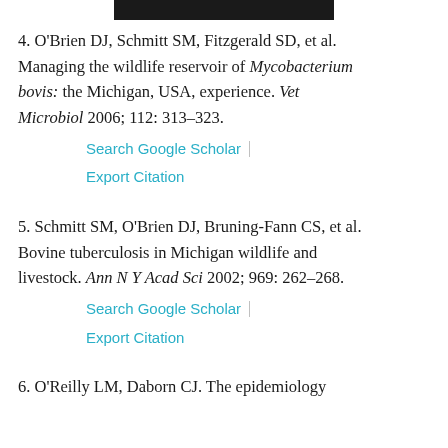4. O'Brien DJ, Schmitt SM, Fitzgerald SD, et al. Managing the wildlife reservoir of Mycobacterium bovis: the Michigan, USA, experience. Vet Microbiol 2006; 112: 313–323.
Search Google Scholar | Export Citation
5. Schmitt SM, O'Brien DJ, Bruning-Fann CS, et al. Bovine tuberculosis in Michigan wildlife and livestock. Ann N Y Acad Sci 2002; 969: 262–268.
Search Google Scholar | Export Citation
6. O'Reilly LM, Daborn CJ. The epidemiology